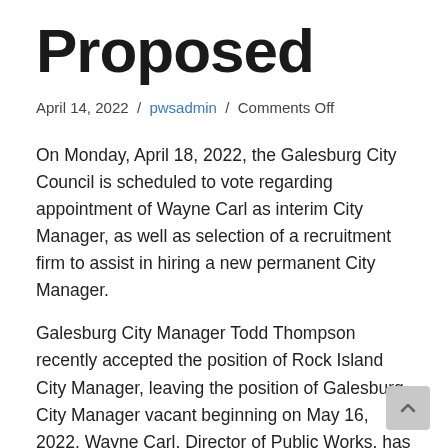Proposed
April 14, 2022 / pwsadmin / Comments Off
On Monday, April 18, 2022, the Galesburg City Council is scheduled to vote regarding appointment of Wayne Carl as interim City Manager, as well as selection of a recruitment firm to assist in hiring a new permanent City Manager.
Galesburg City Manager Todd Thompson recently accepted the position of Rock Island City Manager, leaving the position of Galesburg City Manager vacant beginning on May 16, 2022. Wayne Carl, Director of Public Works, has been recommended to serve as the Interim City Manager while the search and selection process is conducted to